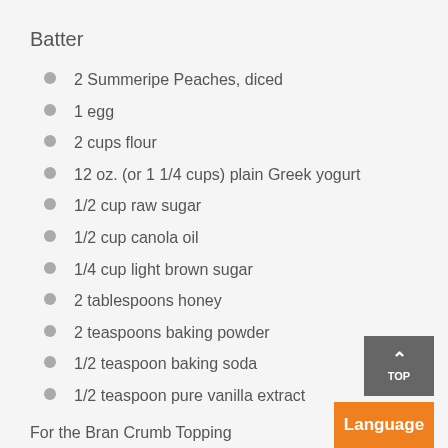Batter
2 Summeripe Peaches, diced
1 egg
2 cups flour
12 oz. (or 1 1/4 cups) plain Greek yogurt
1/2 cup raw sugar
1/2 cup canola oil
1/4 cup light brown sugar
2 tablespoons honey
2 teaspoons baking powder
1/2 teaspoon baking soda
1/2 teaspoon pure vanilla extract
For the Bran Crumb Topping